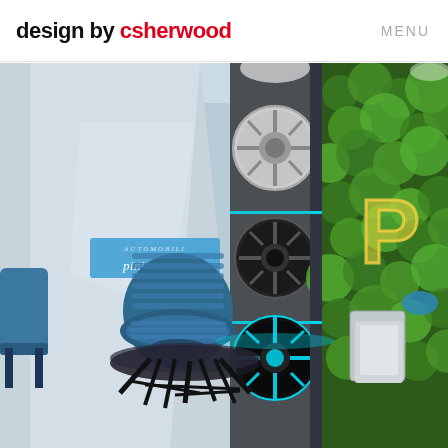design by csherwood   MENU
[Figure (photo): Interior rendering of a futuristic automotive showroom (Pininfarina branding) featuring four car wheels mounted vertically on a dark panel display, a blue ribbed chair, a geometric black coffee table, a blue chair partially visible on the left, a green living plant wall on the right with a glowing P logo, display pedestals, a rug with hexagonal pattern on the floor, and a blue/grey angled wall surface with a Pininfarina logo badge.]